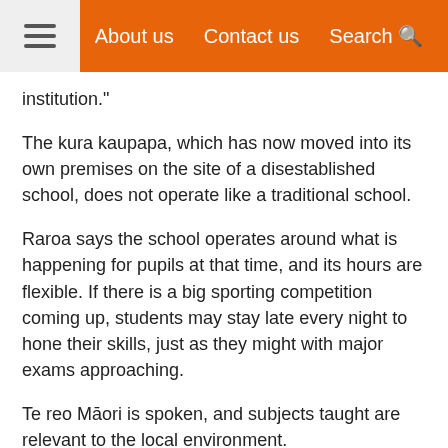About us   Contact us   Search
institution."
The kura kaupapa, which has now moved into its own premises on the site of a disestablished school, does not operate like a traditional school.
Raroa says the school operates around what is happening for pupils at that time, and its hours are flexible. If there is a big sporting competition coming up, students may stay late every night to hone their skills, just as they might with major exams approaching.
Te reo Māori is spoken, and subjects taught are relevant to the local environment.
"We're right on the coast here so we do lots of water sports like diving and fishing, and the students are taught about